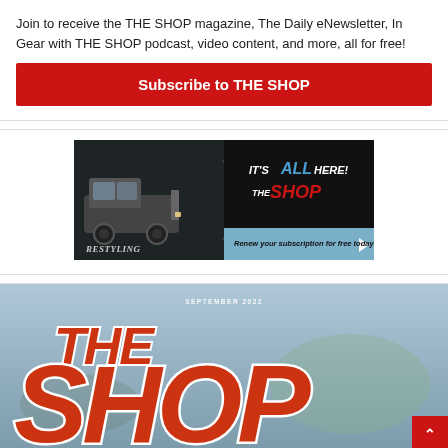Join to receive the THE SHOP magazine, The Daily eNewsletter, In Gear with THE SHOP podcast, video content, and more, all for free!
Subscribe to THE SHOP
[Figure (illustration): Dark banner advertisement for THE SHOP magazine showing a pickup truck on the left with 'Restyling' text, chevron arrows pointing right, headline 'IT'S ALL HERE!' with ALL in blue, THE SHOP logo in red, and a blue bar at bottom reading 'Renew your subscription for free today!']
[Figure (photo): THE SHOP magazine September 2022 cover showing large red italic 'THE SHOP' masthead text with white stroke outline over a blurred outdoor background. 'SEPTEMBER 2022' label at top.]